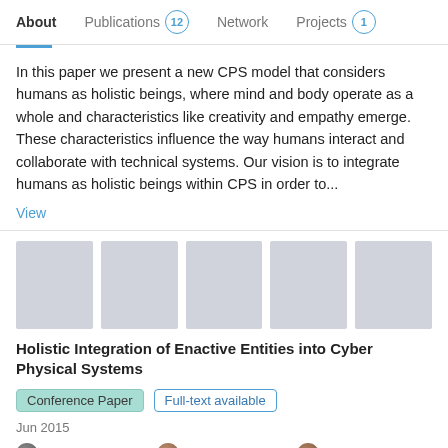About | Publications 12 | Network | Projects 1
In this paper we present a new CPS model that considers humans as holistic beings, where mind and body operate as a whole and characteristics like creativity and empathy emerge. These characteristics influence the way humans interact and collaborate with technical systems. Our vision is to integrate humans as holistic beings within CPS in order to...
View
[Figure (illustration): Five gray rectangular thumbnail images in a row representing document page previews]
Holistic Integration of Enactive Entities into Cyber Physical Systems
Conference Paper | Full-text available
Jun 2015
Benjamin Hadorn · Béat Hirsbrunner · Michele Courant